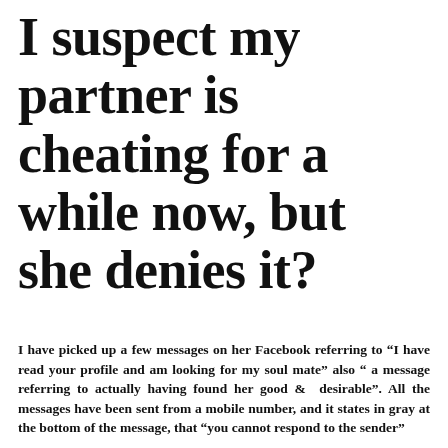I suspect my partner is cheating for a while now, but she denies it?
I have picked up a few messages on her Facebook referring to “I have read your profile and am looking for my soul mate” also “ a message referring to actually having found her good & desirable”. All the messages have been sent from a mobile number, and it states in gray at the bottom of the message, that “you cannot respond to the sender”